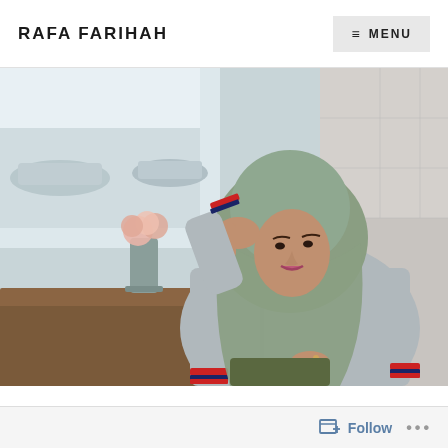RAFA FARIHAH   ≡ MENU
[Figure (photo): A woman wearing a sage green hijab and a grey varsity/bomber jacket with red and navy striped cuffs and collar, seated at a table in a cafe or restaurant. She rests her hand near her head and looks toward the camera. A grey vase with pink flowers is on the table beside her. The background shows a window with a parking lot view and a tiled wall booth seat.]
Follow ...